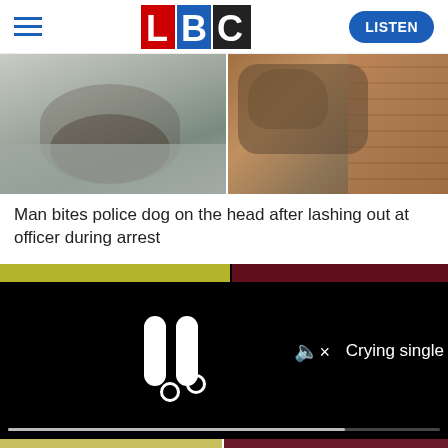LBC - LISTEN
[Figure (photo): Two-panel news image: left panel shows a bearded man in a grey shirt (mug-shot style), right panel shows a dog chained near a brick wall]
Man bites police dog on the head after lashing out at officer during arrest
[Figure (screenshot): Black video player with pause icon, mute icon, progress bar at bottom, and text 'Crying single' visible on right side]